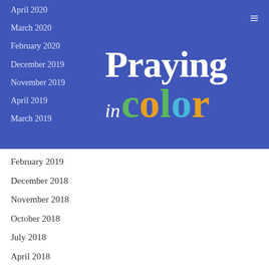[Figure (logo): Praying in Color logo with colored letters on blue background]
April 2020
March 2020
February 2020
December 2019
November 2019
April 2019
March 2019
February 2019
December 2018
November 2018
October 2018
July 2018
April 2018
February 2018
January 2018